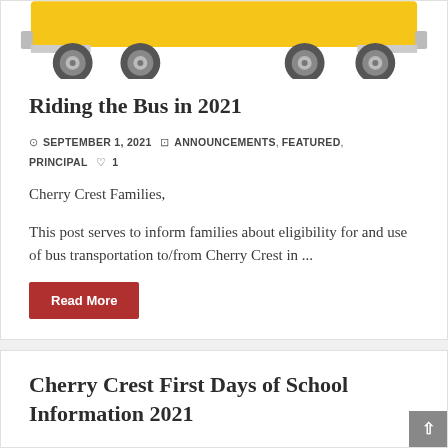[Figure (illustration): School bus illustration showing the bottom portion of a yellow school bus with wheels visible]
Riding the Bus in 2021
SEPTEMBER 1, 2021   ANNOUNCEMENTS, FEATURED, PRINCIPAL  ♡ 1
Cherry Crest Families,
This post serves to inform families about eligibility for and use of bus transportation to/from Cherry Crest in ...
Read More
Cherry Crest First Days of School Information 2021